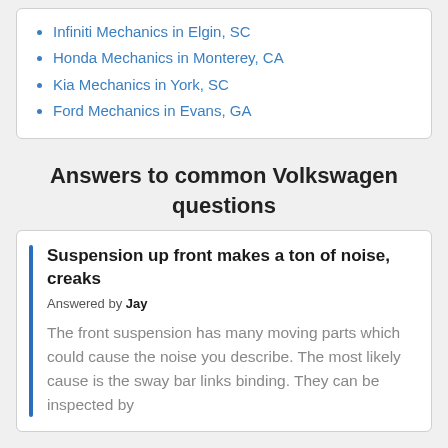Infiniti Mechanics in Elgin, SC
Honda Mechanics in Monterey, CA
Kia Mechanics in York, SC
Ford Mechanics in Evans, GA
Answers to common Volkswagen questions
Suspension up front makes a ton of noise, creaks
Answered by Jay
The front suspension has many moving parts which could cause the noise you describe. The most likely cause is the sway bar links binding. They can be inspected by